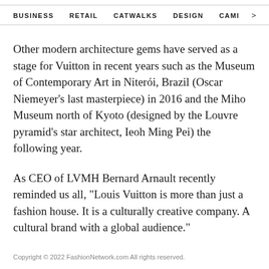BUSINESS   RETAIL   CATWALKS   DESIGN   CAMI >
Other modern architecture gems have served as a stage for Vuitton in recent years such as the Museum of Contemporary Art in Niterói, Brazil (Oscar Niemeyer's last masterpiece) in 2016 and the Miho Museum north of Kyoto (designed by the Louvre pyramid's star architect, Ieoh Ming Pei) the following year.
As CEO of LVMH Bernard Arnault recently reminded us all, "Louis Vuitton is more than just a fashion house. It is a culturally creative company. A cultural brand with a global audience."
Copyright © 2022 FashionNetwork.com All rights reserved.